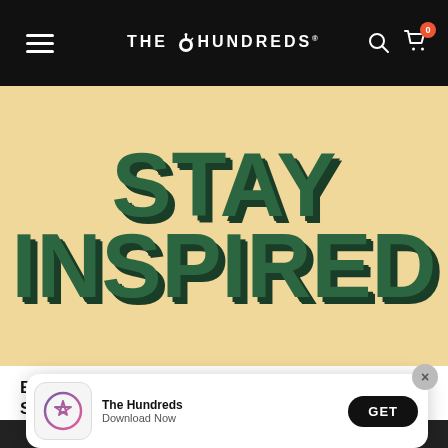THE HUNDREDS
[Figure (illustration): Sandy/tan background with large bold green text reading STAY INSPIRED in two lines, styled with shadow effect]
Bobby Hundreds Answers Your Texts About Staying Inspired
[Figure (screenshot): App store download popup for The Hundreds app — shows App Store icon, app name 'The Hundreds', subtitle 'Download Now', and a black GET button. Has an X close button in the top right corner.]
Sponsored